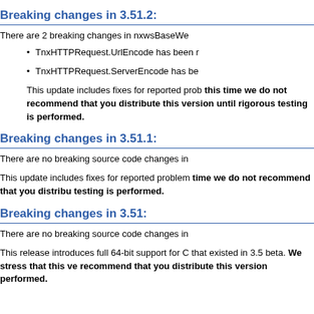Breaking changes in 3.51.2:
There are 2 breaking changes in nxwsBaseWe
TnxHTTPRequest.UrlEncode has been r
TnxHTTPRequest.ServerEncode has be
This update includes fixes for reported prob... At this time we do not recommend that you... rigorous testing is performed.
Breaking changes in 3.51.1:
There are no breaking source code changes in
This update includes fixes for reported problems... time we do not recommend that you distribu... testing is performed.
Breaking changes in 3.51:
There are no breaking source code changes in
This release introduces full 64-bit support for C... that existed in 3.5 beta. We stress that this ve... recommend that you distribute this version... performed.